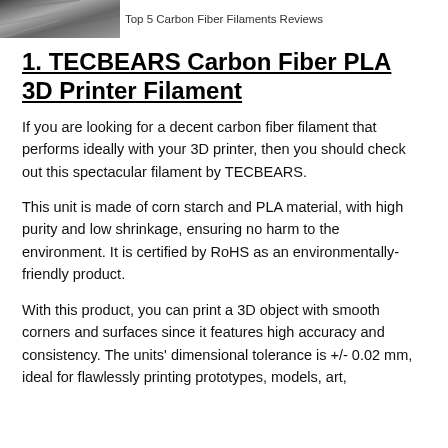[Figure (photo): Partial photo strip at top of page showing carbon fiber or dark material texture]
Top 5 Carbon Fiber Filaments Reviews
1. TECBEARS Carbon Fiber PLA 3D Printer Filament
If you are looking for a decent carbon fiber filament that performs ideally with your 3D printer, then you should check out this spectacular filament by TECBEARS.
This unit is made of corn starch and PLA material, with high purity and low shrinkage, ensuring no harm to the environment. It is certified by RoHS as an environmentally-friendly product.
With this product, you can print a 3D object with smooth corners and surfaces since it features high accuracy and consistency. The units' dimensional tolerance is +/- 0.02 mm, ideal for flawlessly printing prototypes, models, art,